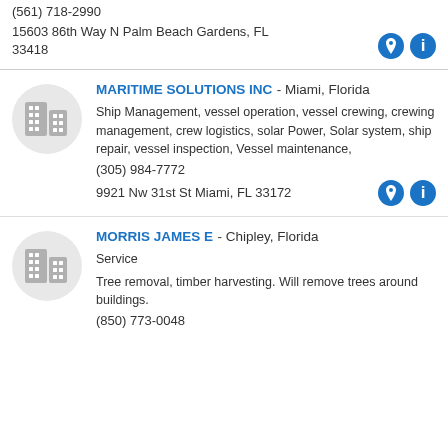(561) 718-2990
15603 86th Way N Palm Beach Gardens, FL 33418
MARITIME SOLUTIONS INC - Miami, Florida
Ship Management, vessel operation, vessel crewing, crewing management, crew logistics, solar Power, Solar system, ship repair, vessel inspection, Vessel maintenance,
(305) 984-7772
9921 Nw 31st St Miami, FL 33172
MORRIS JAMES E - Chipley, Florida
Service
Tree removal, timber harvesting. Will remove trees around buildings.
(850) 773-0048